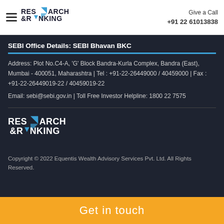Research & Ranking | Give a Call +91 22 61013838
SEBI Office Details: SEBI Bhavan BKC
Address: Plot No.C4-A, 'G' Block Bandra-Kurla Complex, Bandra (East), Mumbai - 400051, Maharashtra | Tel : +91-22-26449000 / 40459000 | Fax : +91-22-26449019-22 / 40459019-22
Email: sebi@sebi.gov.in | Toll Free Investor Helpline: 1800 22 7575
[Figure (logo): Research & Ranking logo (large, white version)]
Copyright © 2022 Equentis Wealth Advisory Services Pvt. Ltd. All Rights Reserved.
Get in touch